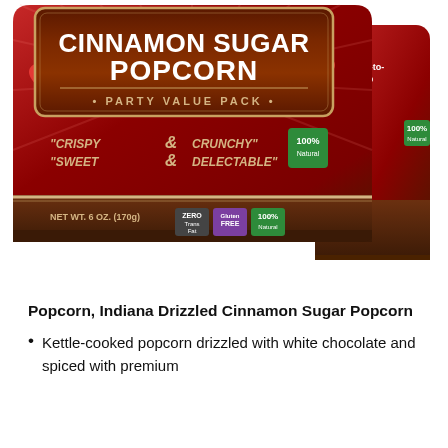[Figure (photo): A bag of Cinnamon Sugar Popcorn Party Value Pack by Indiana with red packaging featuring heart decorations. The bag reads 'CRISPY & CRUNCHY' 'SWEET & DELECTABLE' and lists NET WT. 6 OZ. (170g) with Zero Trans Fat, Gluten Free, and 100% Natural badges. A second bag is visible behind the first.]
Popcorn, Indiana Drizzled Cinnamon Sugar Popcorn
Kettle-cooked popcorn drizzled with white chocolate and spiced with premium